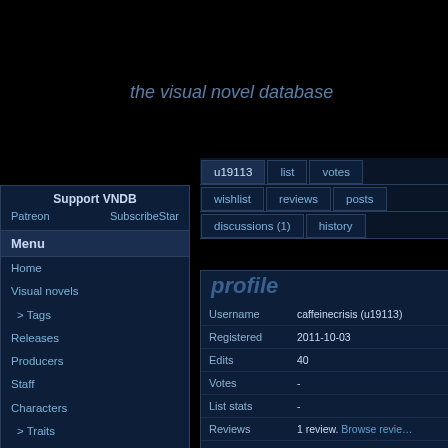the visual novel database
Support VNDB
Patreon  SubscribeStar
Menu
Home
Visual novels
> Tags
Releases
Producers
Staff
Characters
> Traits
Users
Recent changes
Discussion board
FAQ
Random visual novel
| Field | Value |
| --- | --- |
| Username | caffeinecrisis (u19113) |
| Registered | 2011-10-03 |
| Edits | 40 |
| Votes | - |
| List stats | - |
| Reviews | 1 review. Browse reviews |
| Tags | 15 votes on 13 distinct |
| Images | 80 images flagged. Browse |
| Forum stats | 18 posts, 3 new threads |